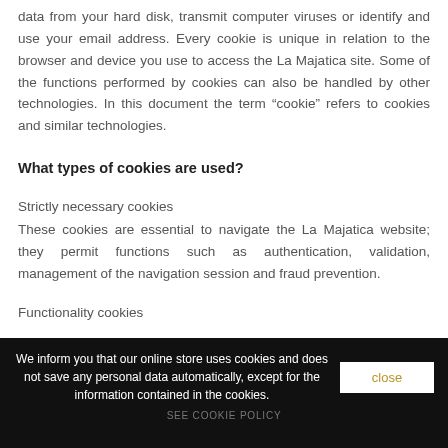data from your hard disk, transmit computer viruses or identify and use your email address. Every cookie is unique in relation to the browser and device you use to access the La Majatica site. Some of the functions performed by cookies can also be handled by other technologies. In this document the term “cookie” refers to cookies and similar technologies.
What types of cookies are used?
Strictly necessary cookies
These cookies are essential to navigate the La Majatica website; they permit functions such as authentication, validation, management of the navigation session and fraud prevention.
Functionality cookies
We inform you that our online store uses cookies and does not save any personal data automatically, except for the information contained in the cookies.
SEE COOKIE POLICY